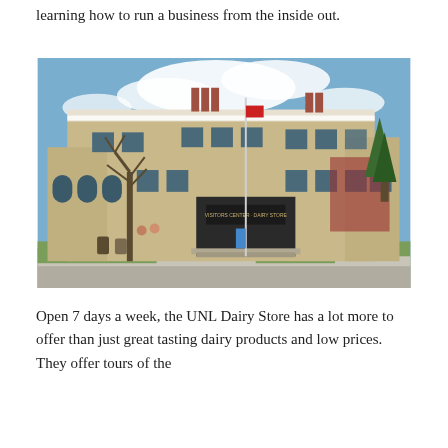learning how to run a business from the inside out.
[Figure (photo): Exterior photograph of the UNL Dairy Store / Visitors Center building — a large tan/beige multi-story historic building with arched windows on the ground floor, decorative trim, chimneys, and a flagpole. Bare trees in foreground, blue sky with clouds in background, green lawn and sidewalk in front.]
Open 7 days a week, the UNL Dairy Store has a lot more to offer than just great tasting dairy products and low prices. They offer tours of the